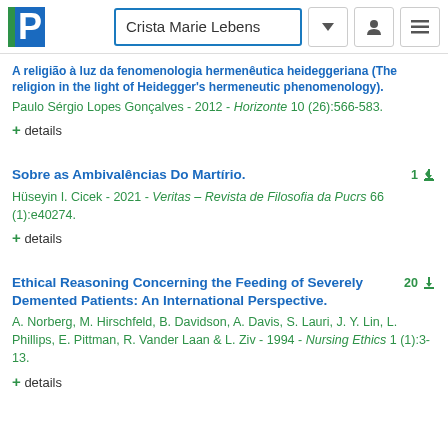Crista Marie Lebens
A religião à luz da fenomenologia hermenêutica heideggeriana (The religion in the light of Heidegger's hermeneutic phenomenology). Paulo Sérgio Lopes Gonçalves - 2012 - Horizonte 10 (26):566-583. + details
Sobre as Ambivalências Do Martírio. Hüseyin I. Cicek - 2021 - Veritas – Revista de Filosofia da Pucrs 66 (1):e40274. + details
Ethical Reasoning Concerning the Feeding of Severely Demented Patients: An International Perspective. A. Norberg, M. Hirschfeld, B. Davidson, A. Davis, S. Lauri, J. Y. Lin, L. Phillips, E. Pittman, R. Vander Laan & L. Ziv - 1994 - Nursing Ethics 1 (1):3-13. + details